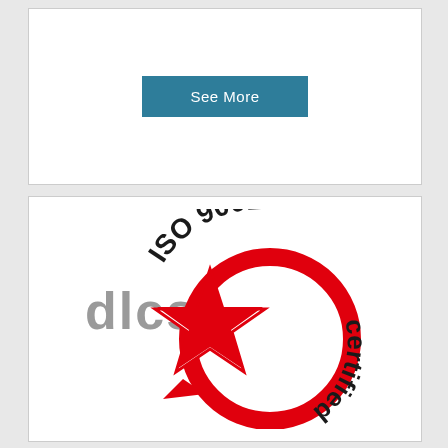[Figure (other): A button labeled 'See More' in white text on a teal/dark cyan rectangular background]
[Figure (logo): DLCS ISO 9001 certified logo. Features the text 'dlcs' in gray on the left, a red five-pointed star with an arrow curving around it forming a circle, and the text 'ISO 9001 certified' arcing around the top-right in black.]